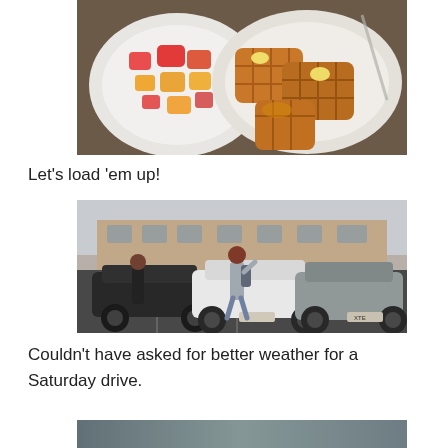[Figure (photo): Photo of a breakfast plate with cut fruit (watermelon, mango, papaya pieces) on a white plate and waffles with butter on another white plate on a dark table.]
Let's load 'em up!
[Figure (photo): Photo of two people standing in a parking lot next to cars (black car and white car), with a hotel building in the background.]
Couldn't have asked for better weather for a Saturday drive.
[Figure (photo): Partial photo visible at bottom of page, appears to show an outdoor scene.]